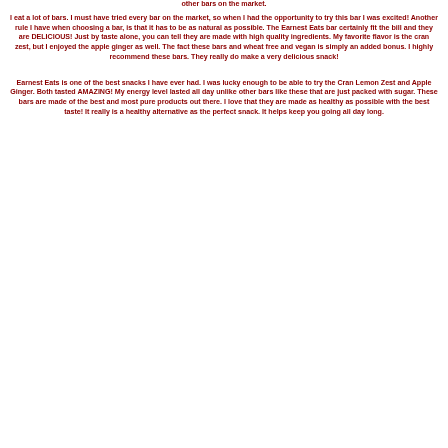other bars on the market.
I eat a lot of bars. I must have tried every bar on the market, so when I had the opportunity to try this bar I was excited! Another rule I have when choosing a bar, is that it has to be as natural as possible. The Earnest Eats bar certainly fit the bill and they are DELICIOUS! Just by taste alone, you can tell they are made with high quality ingredients. My favorite flavor is the cran zest, but I enjoyed the apple ginger as well. The fact these bars and wheat free and vegan is simply an added bonus. I highly recommend these bars. They really do make a very delicious snack!
Earnest Eats is one of the best snacks I have ever had. I was lucky enough to be able to try the Cran Lemon Zest and Apple Ginger. Both tasted AMAZING! My energy level lasted all day unlike other bars like these that are just packed with sugar. These bars are made of the best and most pure products out there. I love that they are made as healthy as possible with the best taste! It really is a healthy alternative as the perfect snack. It helps keep you going all day long.